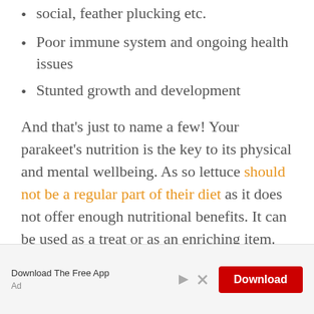social, feather plucking etc.
Poor immune system and ongoing health issues
Stunted growth and development
And that’s just to name a few! Your parakeet’s nutrition is the key to its physical and mental wellbeing. As so lettuce should not be a regular part of their diet as it does not offer enough nutritional benefits. It can be used as a treat or as an enriching item.
[Figure (infographic): Download The Free App advertisement banner with a red Download button and an Ad label]